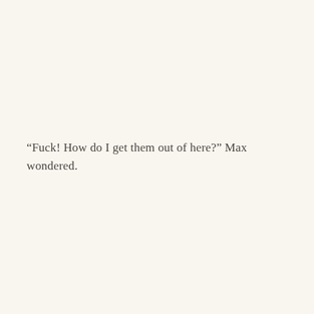“Fuck! How do I get them out of here?” Max wondered.